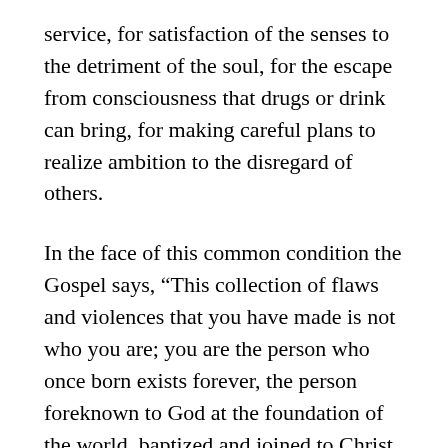service, for satisfaction of the senses to the detriment of the soul, for the escape from consciousness that drugs or drink can bring, for making careful plans to realize ambition to the disregard of others.
In the face of this common condition the Gospel says, “This collection of flaws and violences that you have made is not who you are; you are the person who once born exists forever, the person foreknown to God at the foundation of the world, baptized and joined to Christ.  So fear God; take up your cross, deny yourself, deny that persistently craving, itching, grasping self that is always peeping around the corners of the soul, this self that